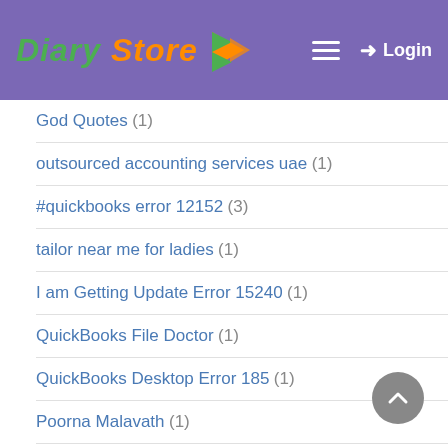Diary Store — Login
God Quotes (1)
outsourced accounting services uae (1)
#quickbooks error 12152 (3)
tailor near me for ladies (1)
I am Getting Update Error 15240 (1)
QuickBooks File Doctor (1)
QuickBooks Desktop Error 185 (1)
Poorna Malavath (1)
horizontal life line system (1)
QuickBooks Error Message C343 (1)
quickbooks canada (1)
#quickbooks error 176109 (1)
Dr Gautam Allahbadia (18)